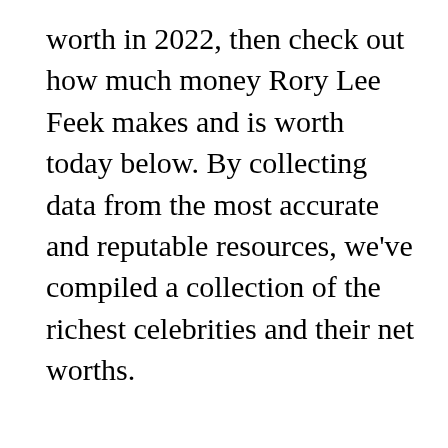worth in 2022, then check out how much money Rory Lee Feek makes and is worth today below. By collecting data from the most accurate and reputable resources, we've compiled a collection of the richest celebrities and their net worths.